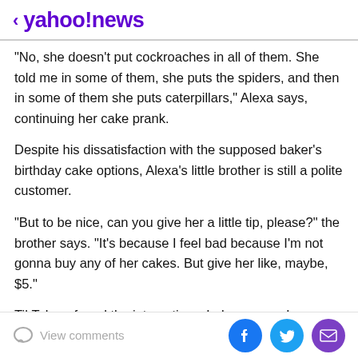< yahoo!news
"No, she doesn't put cockroaches in all of them. She told me in some of them, she puts the spiders, and then in some of them she puts caterpillars," Alexa says, continuing her cake prank.
Despite his dissatisfaction with the supposed baker's birthday cake options, Alexa's little brother is still a polite customer.
“But to be nice, can you give her a little tip, please?” the brother says. “It’s because I feel bad because I’m not gonna buy any of her cakes. But give her like, maybe, $5.”
TikTokers found the interaction wholesome and amusing. Many took to the comments to express how much they
View comments